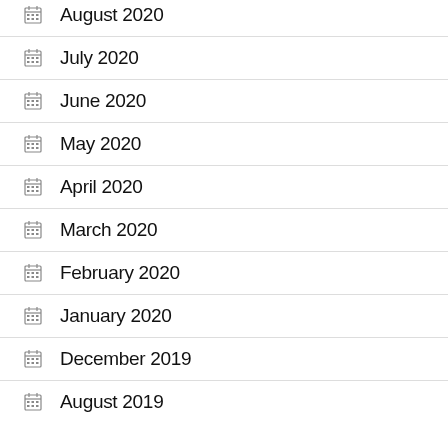August 2020
July 2020
June 2020
May 2020
April 2020
March 2020
February 2020
January 2020
December 2019
August 2019